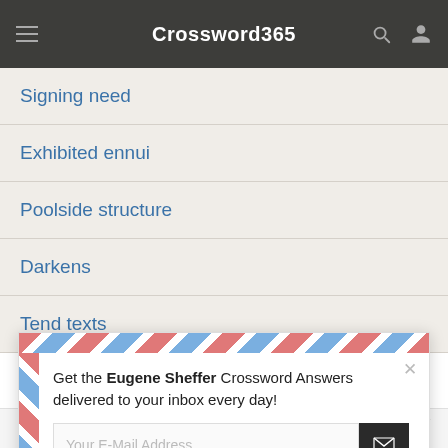Crossword365
Signing need
Exhibited ennui
Poolside structure
Darkens
Tend texts
[Figure (screenshot): Email signup popup with airmail-style border. Text reads: Get the Eugene Sheffer Crossword Answers delivered to your inbox every day! With an email input field and submit button.]
This website uses cookies to ensure you get the best experience on our website